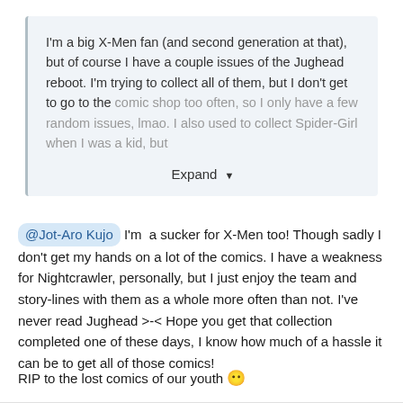I'm a big X-Men fan (and second generation at that), but of course I have a couple issues of the Jughead reboot. I'm trying to collect all of them, but I don't get to go to the comic shop too often, so I only have a few random issues, lmao. I also used to collect Spider-Girl when I was a kid, but
Expand
@Jot-Aro Kujo  I'm  a sucker for X-Men too! Though sadly I don't get my hands on a lot of the comics. I have a weakness for Nightcrawler, personally, but I just enjoy the team and story-lines with them as a whole more often than not. I've never read Jughead >-< Hope you get that collection completed one of these days, I know how much of a hassle it can be to get all of those comics!
RIP to the lost comics of our youth 😶